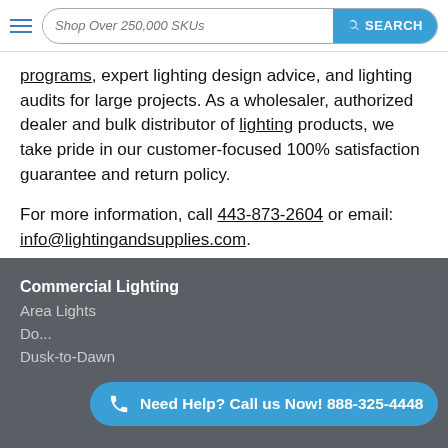Shop Over 250,000 SKUs  SEARCH
programs, expert lighting design advice, and lighting audits for large projects. As a wholesaler, authorized dealer and bulk distributor of lighting products, we take pride in our customer-focused 100% satisfaction guarantee and return policy.
For more information, call 443-873-2604 or email: info@lightingandsupplies.com.
Commercial Lighting
Area Lights
Do...
Dusk-to-Dawn
[Figure (other): Call-to-action button: Need Help? Call us Now! 888-325-4448]